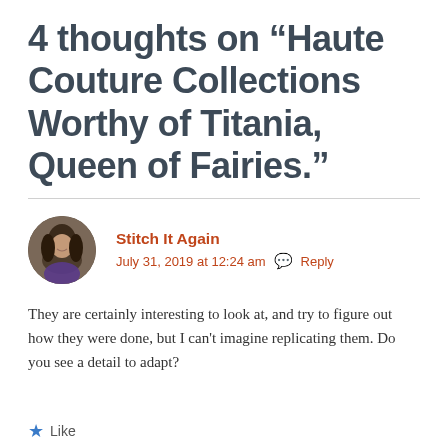4 thoughts on “Haute Couture Collections Worthy of Titania, Queen of Fairies.”
Stitch It Again
July 31, 2019 at 12:24 am  Reply
They are certainly interesting to look at, and try to figure out how they were done, but I can't imagine replicating them. Do you see a detail to adapt?
Like